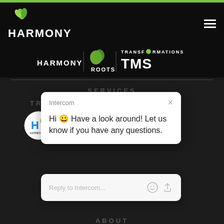[Figure (logo): Harmony logo with green leaf icon and white HARMONY wordmark on dark background header, hamburger menu icon top right]
[Figure (logo): Partner logos strip: HARMONY | ROOTS (with green tree icon) | TMS TRANSFORMATIONS logos on dark background]
SERVICES
TR...
[Figure (logo): Harmony circular badge/seal logo]
[Figure (screenshot): Intercom chat popup with message: Hi 😀 Have a look around! Let us know if you have any questions. Reply to Intercom... input field with emoji and attachment icons]
ABOUT
TEAM >
LOCATIONS >
CONTACT >
[Figure (other): Blue circular Intercom chat button with white chat icon and red notification badge showing 1]